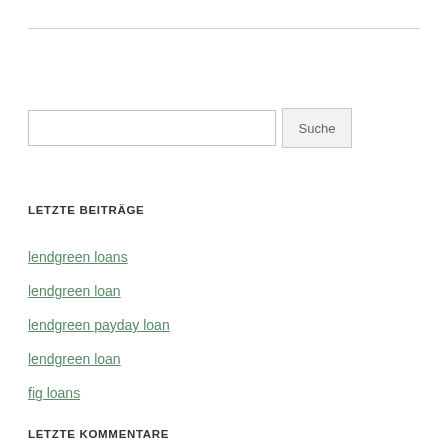LETZTE BEITRÄGE
lendgreen loans
lendgreen loan
lendgreen payday loan
lendgreen loan
fig loans
LETZTE KOMMENTARE